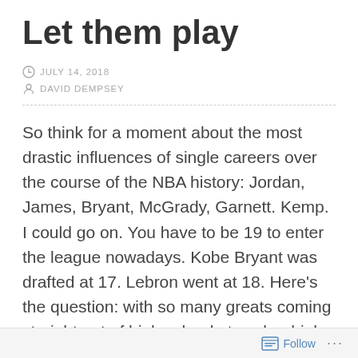Let them play
JULY 14, 2018
DAVID DEMPSEY
So think for a moment about the most drastic influences of single careers over the course of the NBA history: Jordan, James, Bryant, McGrady, Garnett. Kemp.  I could go on. You have to be 19 to enter the league nowadays. Kobe Bryant was drafted at 17. Lebron went at 18. Here's the question: with so many greats coming straight out of high school at such a high percentage, do we really know what we're doing by restricting the minimum age?
There have only been 44 guys to get drafted straight
Follow